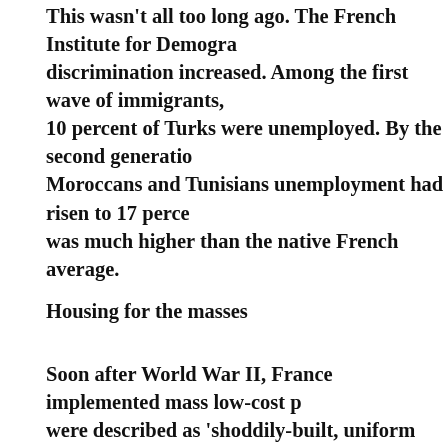This wasn't all too long ago. The French Institute for Demography found discrimination increased. Among the first wave of immigrants, 10 percent of Turks were unemployed. By the second generation for Moroccans and Tunisians unemployment had risen to 17 percent, which was much higher than the native French average.
Housing for the masses
Soon after World War II, France implemented mass low-cost public housing that were described as 'shoddily-built, uniform and aesthetically unimaginative'.
But to Muslim immigrants, they were a blessing compared to housing before, only to discover the new cites were isolated from public transportation.
With the lack of a better alternative, the enclaves were predominantly deserted by better neighbourhoods. In time, they would become ghettos. Riots erupted in every form of welfare. Schools filled with immigrants became less and less funded.
Dead dreams
Second and third generation immigrants became more susceptible